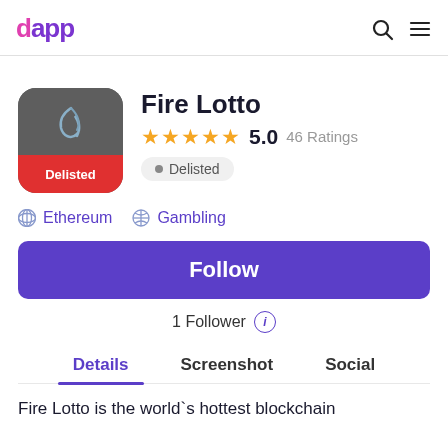dapp
[Figure (logo): Fire Lotto app icon: dark gray square with bird logo top half, red bottom half with 'Delisted' text]
Fire Lotto
★★★★★  5.0  46 Ratings
• Delisted
Ethereum  Gambling
Follow
1 Follower ⓘ
Details  Screenshot  Social
Fire Lotto is the world`s hottest blockchain